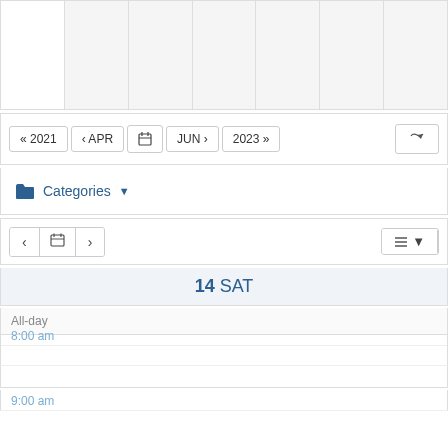[Figure (screenshot): Top portion of a calendar application showing a grid of empty cells with column separators]
[Figure (screenshot): Calendar navigation bar with buttons: « 2021, ‹ APR, calendar icon, JUN ›, 2023 », and RSS icon on the right]
[Figure (screenshot): Categories dropdown button with folder icon]
[Figure (screenshot): Day view navigation bar with prev/calendar/next buttons and a list view dropdown]
14 SAT
All-day
8:00 am
9:00 am
10:00 am
11:00 am